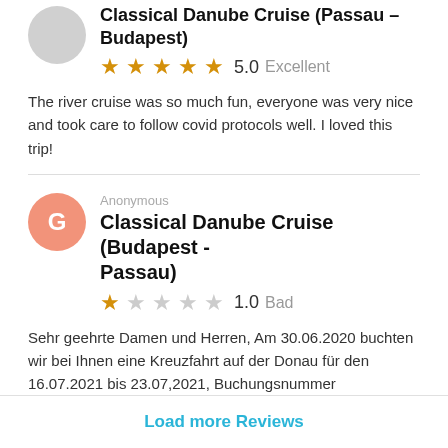Classical Danube Cruise (Passau – Budapest)
5.0  Excellent
The river cruise was so much fun, everyone was very nice and took care to follow covid protocols well. I loved this trip!
Anonymous
Classical Danube Cruise (Budapest - Passau)
1.0  Bad
Sehr geehrte Damen und Herren, Am 30.06.2020 buchten wir bei Ihnen eine Kreuzfahrt auf der Donau für den 16.07.2021 bis 23.07,2021, Buchungsnummer BU2613058…
Read more
Load more Reviews